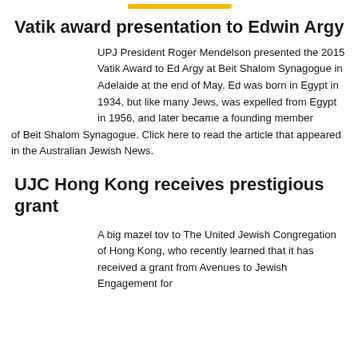Vatik award presentation to Edwin Argy
UPJ President Roger Mendelson presented the 2015 Vatik Award to Ed Argy at Beit Shalom Synagogue in Adelaide at the end of May. Ed was born in Egypt in 1934, but like many Jews, was expelled from Egypt in 1956, and later became a founding member of Beit Shalom Synagogue. Click here to read the article that appeared in the Australian Jewish News.
UJC Hong Kong receives prestigious grant
A big mazel tov to The United Jewish Congregation of Hong Kong, who recently learned that it has received a grant from Avenues to Jewish Engagement for